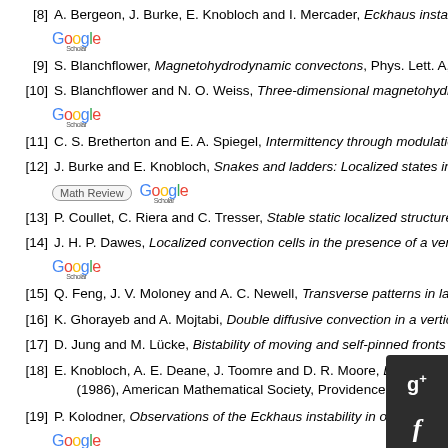[8] A. Bergeon, J. Burke, E. Knobloch and I. Mercader, Eckhaus instability and h...
[9] S. Blanchflower, Magnetohydrodynamic convectons, Phys. Lett. A, 261 (1999...
[10] S. Blanchflower and N. O. Weiss, Three-dimensional magnetohydrodynamic...
[11] C. S. Bretherton and E. A. Spiegel, Intermittency through modulational insta...
[12] J. Burke and E. Knobloch, Snakes and ladders: Localized states in t...
[13] P. Coullet, C. Riera and C. Tresser, Stable static localized structures...
[14] J. H. P. Dawes, Localized convection cells in the presence of a verti...
[15] Q. Feng, J. V. Moloney and A. C. Newell, Transverse patterns in lase...
[16] K. Ghorayeb and A. Mojtabi, Double diffusive convection in a vertica...
[17] D. Jung and M. Lücke, Bistability of moving and self-pinned fronts o...
[18] E. Knobloch, A. E. Deane, J. Toomre and D. R. Moore, Doubly diffusive wav... (1986), American Mathematical Society, Providence, R.I., 203-216.
[19] P. Kolodner, Observations of the Eckhaus instability in one-dimensional trav...